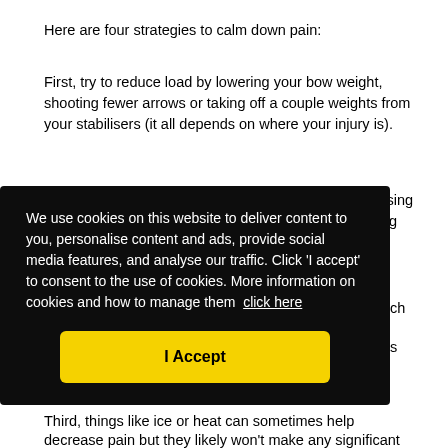Here are four strategies to calm down pain:
First, try to reduce load by lowering your bow weight, shooting fewer arrows or taking off a couple weights from your stabilisers (it all depends on where your injury is).
Second, isometric exercises may be helpful in decreasing pain. Once you know which tendon or action is causing
ch
s
Third, things like ice or heat can sometimes help decrease pain but they likely won't make any significant
[Figure (screenshot): Cookie consent banner with black background. Text reads: 'We use cookies on this website to deliver content to you, personalise content and ads, provide social media features, and analyse our traffic. Click 'I accept' to consent to the use of cookies. More information on cookies and how to manage them click here'. Yellow 'I Accept' button at the bottom.]